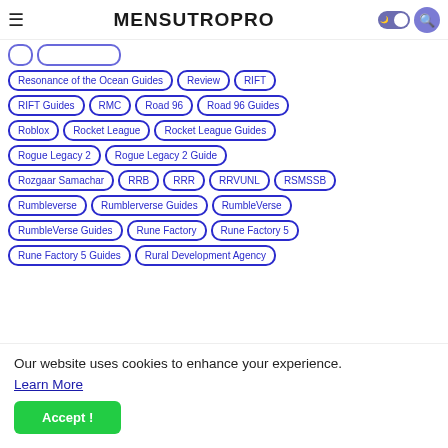MENSUTROPRO
Resonance of the Ocean Guides
Review
RIFT
RIFT Guides
RMC
Road 96
Road 96 Guides
Roblox
Rocket League
Rocket League Guides
Rogue Legacy 2
Rogue Legacy 2 Guide
Rozgaar Samachar
RRB
RRR
RRVUNL
RSMSSB
Rumbleverse
Rumblerverse Guides
RumbleVerse
RumbleVerse Guides
Rune Factory
Rune Factory 5
Rune Factory 5 Guides
Rural Development Agency
Our website uses cookies to enhance your experience.
Learn More
Accept !